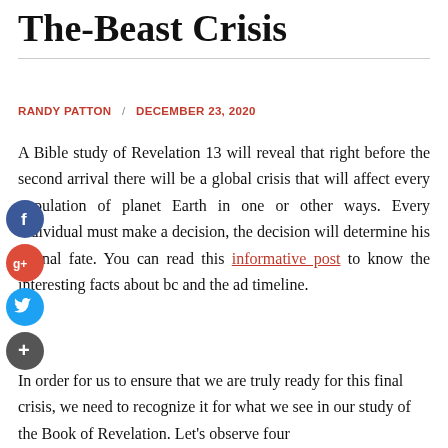The-Beast Crisis
RANDY PATTON / DECEMBER 23, 2020
A Bible study of Revelation 13 will reveal that right before the second arrival there will be a global crisis that will affect every population of planet Earth in one or other ways. Every individual must make a decision, the decision will determine his eternal fate. You can read this informative post to know the interesting facts about bc and the ad timeline.
[Figure (infographic): Social media sharing icons: Facebook (blue circle with f), Google+ (red circle with g+), Twitter (blue circle with bird), and a dark plus circle for more sharing options]
In order for us to ensure that we are truly ready for this final crisis, we need to recognize it for what we see in our study of the Book of Revelation. Let's observe four